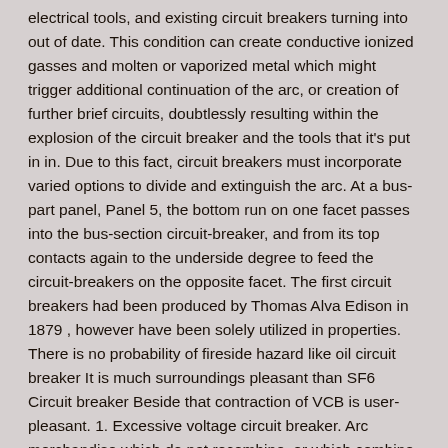electrical tools, and existing circuit breakers turning into out of date. This condition can create conductive ionized gasses and molten or vaporized metal which might trigger additional continuation of the arc, or creation of further brief circuits, doubtlessly resulting within the explosion of the circuit breaker and the tools that it's put in in. Due to this fact, circuit breakers must incorporate varied options to divide and extinguish the arc. At a bus-part panel, Panel 5, the bottom run on one facet passes into the bus-section circuit-breaker, and from its top contacts again to the underside degree to feed the circuit-breakers on the opposite facet. The first circuit breakers had been produced by Thomas Alva Edison in 1879 , however have been solely utilized in properties. There is no probability of fireside hazard like oil circuit breaker It is much surroundings pleasant than SF6 Circuit breaker Beside that contraction of VCB is user-pleasant. 1. Excessive voltage circuit breaker. Arc merchandise which do not recombine, or which combine with any oxygen or moisture present, are normally eliminated by the molecular sieve filter materials inside the circuit breaker. The de-ionization of the contact gap proceeds very rapidly because of the electro-unfavorable characteristic of the SF6 gasoline and the merchandise. Air